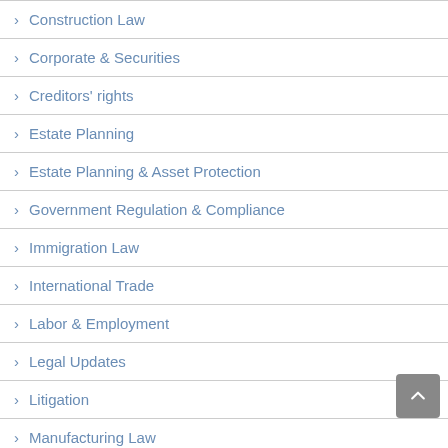Construction Law
Corporate & Securities
Creditors' rights
Estate Planning
Estate Planning & Asset Protection
Government Regulation & Compliance
Immigration Law
International Trade
Labor & Employment
Legal Updates
Litigation
Manufacturing Law